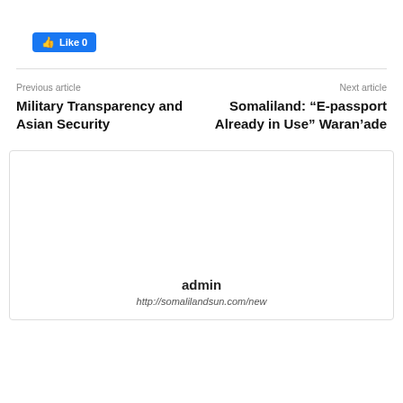[Figure (other): Facebook Like button showing 'Like 0']
Previous article
Next article
Military Transparency and Asian Security
Somaliland: “E-passport Already in Use” Waran’ade
admin
http://somalilandsun.com/new